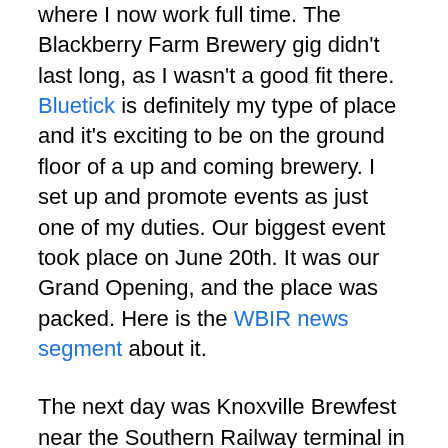where I now work full time. The Blackberry Farm Brewery gig didn't last long, as I wasn't a good fit there. Bluetick is definitely my type of place and it's exciting to be on the ground floor of a up and coming brewery. I set up and promote events as just one of my duties. Our biggest event took place on June 20th. It was our Grand Opening, and the place was packed. Here is the WBIR news segment about it.
The next day was Knoxville Brewfest near the Southern Railway terminal in downtown. Another duty of mine is being the festival guy, so we set up and poured 2 of our brews. It was a lot of fun and thankfully we had enough volunteers so that I could get out and socialize with friends at the fest. Not that I didn't spend a lot of time at our booth. I wasn't the driver so after the fest we hit a few parties around Knoxville before going home.